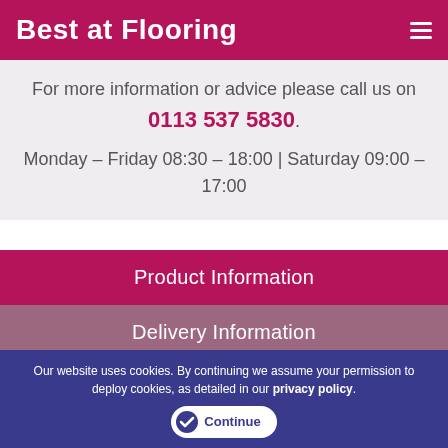Best at Flooring
For more information or advice please call us on 0113 537 5830.
Monday – Friday 08:30 – 18:00 | Saturday 09:00 – 17:00
Product Information
Delivery Information
Accessories
Our website uses cookies. By continuing we assume your permission to deploy cookies, as detailed in our privacy policy. Continue